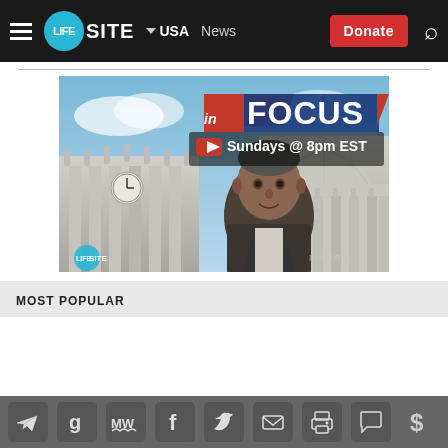LifeSite — USA | News | Donate
[Figure (illustration): LifeSite 'In Focus' show promotional image — man in front of St. Peter's Basilica, text reads 'in FOCUS — Sundays @ 8pm EST' with YouTube logo and LifeSite branding.]
MOST POPULAR
[Figure (infographic): Social media sharing icon bar: Telegram, Gab, MeWe, Facebook, Twitter, Email, Print, Comment, Donate ($)]